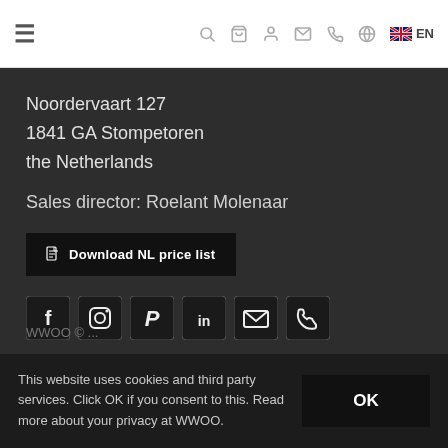≡  🔍  🛒  👤  ✉  📞  🌐  EN
Noordervaart 127
1841 GA Stompetoren
the Netherlands
Sales director: Roelant Molenaar
Download NL price list
[Figure (infographic): Social media icons: Facebook, Instagram, Pinterest, LinkedIn, Email, Phone]
This website uses cookies and third party services. Click OK if you consent to this. Read more about your privacy at WWOO.